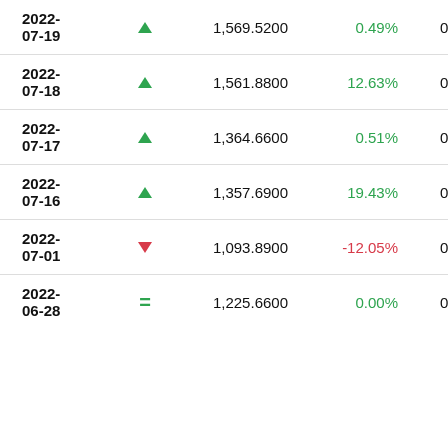| Date | Direction | Price | Change% | Value |
| --- | --- | --- | --- | --- |
| 2022-07-19 | up | 1,569.5200 | 0.49% | 0.0006 |
| 2022-07-18 | up | 1,561.8800 | 12.63% | 0.0006 |
| 2022-07-17 | up | 1,364.6600 | 0.51% | 0.0007 |
| 2022-07-16 | up | 1,357.6900 | 19.43% | 0.0007 |
| 2022-07-01 | down | 1,093.8900 | -12.05% | 0.0009 |
| 2022-06-28 | equal | 1,225.6600 | 0.00% | 0.0008 |